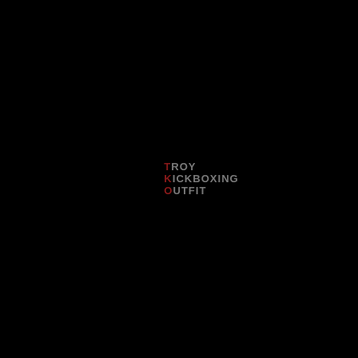[Figure (logo): TKO logo: Troy Kickboxing Outfit. Three lines of text centered slightly right of center on a black background. Each line begins with a red accent letter (T, K, O) followed by gray uppercase text. Line 1: T-ROY, Line 2: K-ICKBOXING, Line 3: O-UTFIT.]